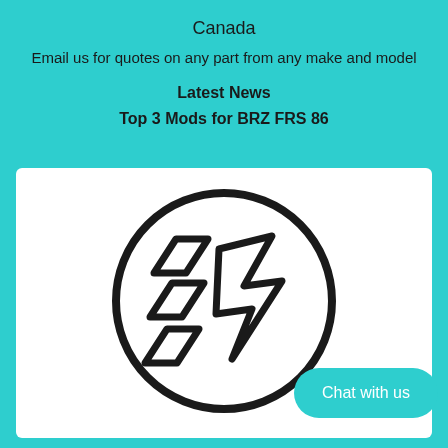Canada
Email us for quotes on any part from any make and model
Latest News
Top 3 Mods for BRZ FRS 86
[Figure (logo): Circular logo with stylized speed/lightning bolt letter marks inside, black outline on white background]
Chat with us